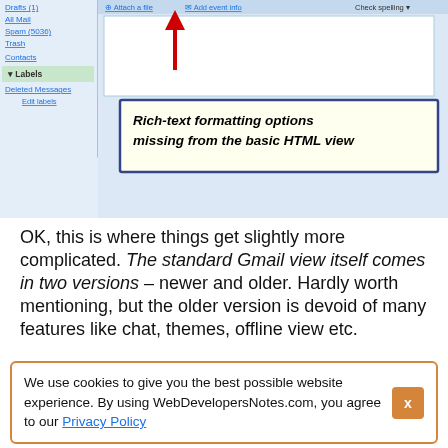[Figure (screenshot): Gmail compose interface screenshot showing sidebar with mail labels, compose area, and a callout tooltip pointing with a red arrow to the toolbar area. The callout reads: 'Rich-text formatting options missing from the basic HTML view']
OK, this is where things get slightly more complicated. The standard Gmail view itself comes in two versions – newer and older. Hardly worth mentioning, but the older version is devoid of many features like chat, themes, offline view etc.
Gmail lets you shift back and forth across standard
We use cookies to give you the best possible website experience. By using WebDevelopersNotes.com, you agree to our Privacy Policy